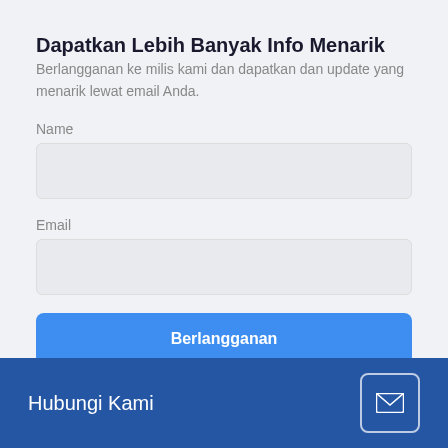Dapatkan Lebih Banyak Info Menarik
Berlangganan ke milis kami dan dapatkan dan update yang menarik lewat email Anda.
Name
Email
Berlangganan
Hubungi Kami